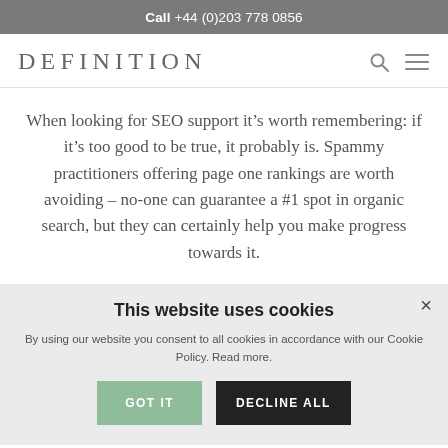Call +44 (0)203 778 0856
DEFINITION
When looking for SEO support it’s worth remembering: if it’s too good to be true, it probably is. Spammy practitioners offering page one rankings are worth avoiding – no-one can guarantee a #1 spot in organic search, but they can certainly help you make progress towards it.
This website uses cookies
By using our website you consent to all cookies in accordance with our Cookie Policy. Read more.
GOT IT   DECLINE ALL